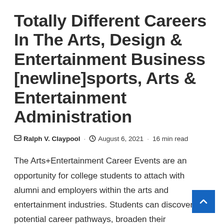Totally Different Careers In The Arts, Design & Entertainment Business [newline]sports, Arts & Entertainment Administration
Ralph V. Claypool · August 6, 2021 · 16 min read
The Arts+Entertainment Career Events are an opportunity for college students to attach with alumni and employers within the arts and entertainment industries. Students can discover potential career pathways, broaden their community, and hear from alumni in fields such as design, performance, movie,